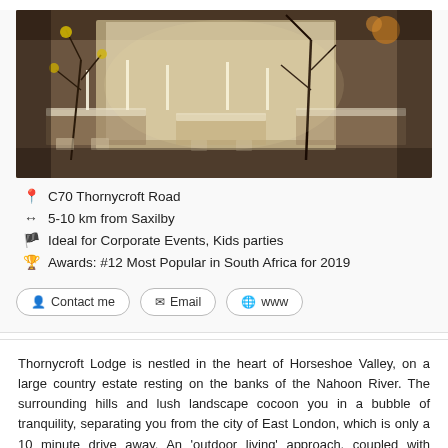[Figure (photo): Interior photo of a decorated event venue with tables set for a formal occasion, floral arrangements, candles, and warm ambient lighting against a twinkling backdrop]
C70 Thornycroft Road
5-10 km from Saxilby
Ideal for Corporate Events, Kids parties
Awards: #12 Most Popular in South Africa for 2019
Contact me  Email  www
Thornycroft Lodge is nestled in the heart of Horseshoe Valley, on a large country estate resting on the banks of the Nahoon River. The surrounding hills and lush landscape cocoon you in a bubble of tranquility, separating you from the city of East London, which is only a 10 minute drive away. An 'outdoor living' approach, coupled with uncomplicated designs and natural tones, creates a relaxed atmosphere